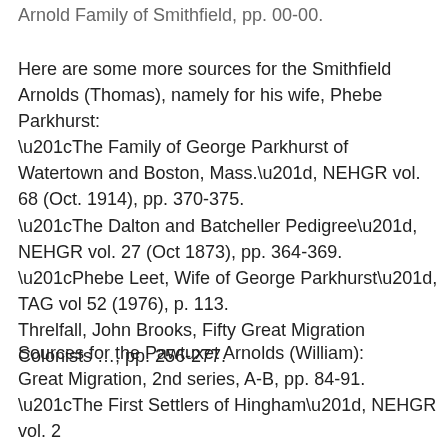Arnold Family of Smithfield, pp. 00-00.
Here are some more sources for the Smithfield Arnolds (Thomas), namely for his wife, Phebe Parkhurst:
“The Family of George Parkhurst of Watertown and Boston, Mass.”, NEHGR vol. 68 (Oct. 1914), pp. 370-375.
“The Dalton and Batcheller Pedigree”, NEHGR vol. 27 (Oct 1873), pp. 364-369.
“Phebe Leet, Wife of George Parkhurst”, TAG vol 52 (1976), p. 113.
Threlfall, John Brooks, Fifty Great Migration Colonists …, pp. 256-277.
Sources for the Pawtuxet Arnolds (William):
Great Migration, 2nd series, A-B, pp. 84-91.
“The First Settlers of Hingham”, NEHGR vol. 2